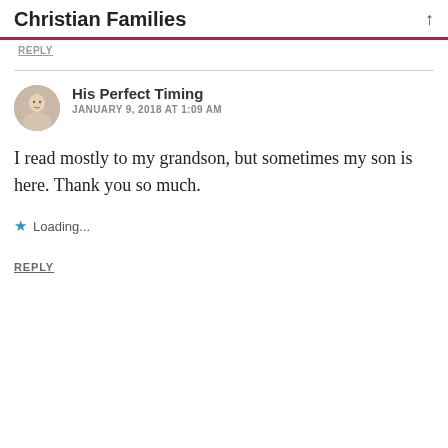Christian Families
REPLY
His Perfect Timing
JANUARY 9, 2018 AT 1:09 AM
I read mostly to my grandson, but sometimes my son is here. Thank you so much.
Loading...
REPLY